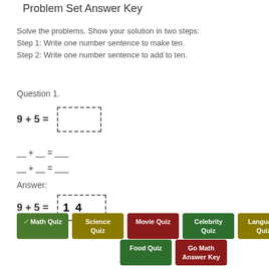Problem Set Answer Key
Solve the problems. Show your solution in two steps:
Step 1: Write one number sentence to make ten.
Step 2: Write one number sentence to add to ten.
Question 1.
__ + __ = __
__ + __ = __
Answer: